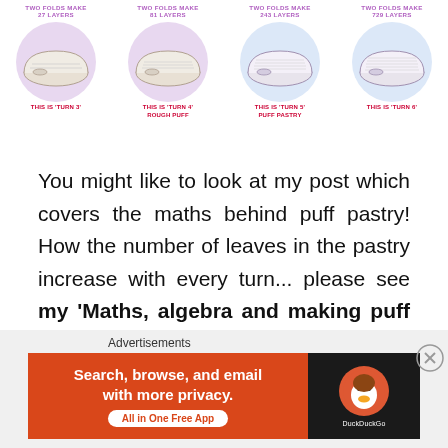[Figure (illustration): Four pastry folding diagrams side by side, each showing a loaf-shaped puff pastry with labels indicating number of layers. Panel 1: 'TWO FOLDS MAKE 27 LAYERS' with label 'THIS IS TURN 3'. Panel 2: 'TWO FOLDS MAKE 81 LAYERS' with label 'THIS IS TURN 4' and 'ROUGH PUFF'. Panel 3: 'TWO FOLDS MAKE 243 LAYERS' with label 'THIS IS TURN 5' and 'PUFF PASTRY'. Panel 4: 'TWO FOLDS MAKE 729 LAYERS' with label 'THIS IS TURN 6'.]
You might like to look at my post which covers the maths behind puff pastry! How the number of leaves in the pastry increase with every turn... please see my 'Maths, algebra and making puff pastry' post
[Figure (screenshot): Advertisement banner: DuckDuckGo app ad reading 'Search, browse, and email with more privacy. All in One Free App' on orange background with DuckDuckGo logo on dark background.]